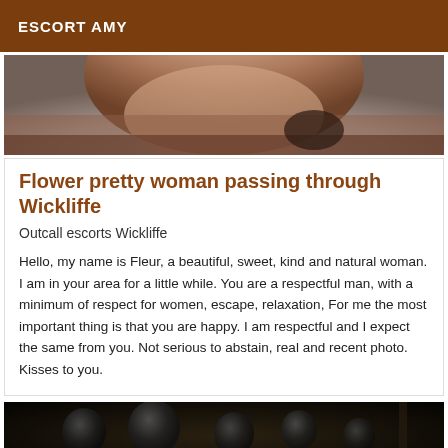ESCORT AMY
[Figure (photo): Close-up photo, warm skin tones, blurred background]
Flower pretty woman passing through Wickliffe
Outcall escorts Wickliffe
Hello, my name is Fleur, a beautiful, sweet, kind and natural woman. I am in your area for a little while. You are a respectful man, with a minimum of respect for women, escape, relaxation, For me the most important thing is that you are happy. I am respectful and I expect the same from you. Not serious to abstain, real and recent photo. Kisses to you.
[Figure (photo): Dark monochrome photo showing group of people wearing helmets]